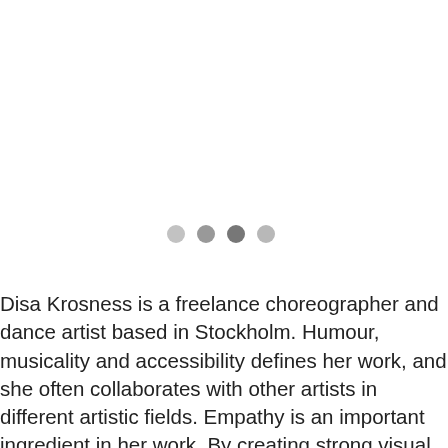[Figure (other): Four dots in a loading/pagination indicator pattern, varying shades of gray]
Disa Krosness is a freelance choreographer and dance artist based in Stockholm. Humour, musicality and accessibility defines her work, and she often collaborates with other artists in different artistic fields. Empathy is an important ingredient in her work. By creating strong visual images, using references to pop-culture and adding a touch